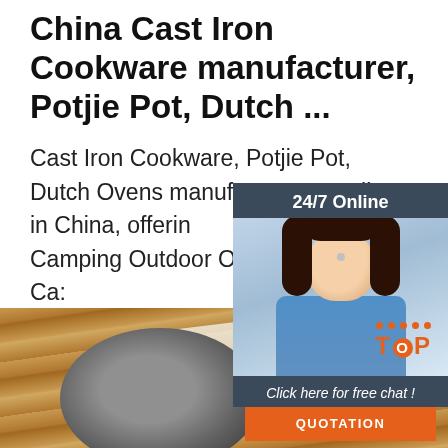China Cast Iron Cookware manufacturer, Potjie Pot, Dutch ...
Cast Iron Cookware, Potjie Pot, Dutch Ovens manufacturer supplier in China, offering Camping Outdoor Oven 4.5-Quart Ca... Camp Dutch Oven, South Africa Cast Camping Potjie Pot Three Legs, 7piec Iron Cookware Sets, Camping Sets ar
[Figure (photo): Customer service representative with headset smiling, with 24/7 Online header, italic text 'Click here for free chat!' and orange QUOTATION button on dark blue-grey background widget]
[Figure (logo): TOP logo in orange with decorative dots above]
Get Price
[Figure (photo): Wooden cutting board with a metal strainer/colander spoon and a cloth/napkin on top, bottom portion of page]